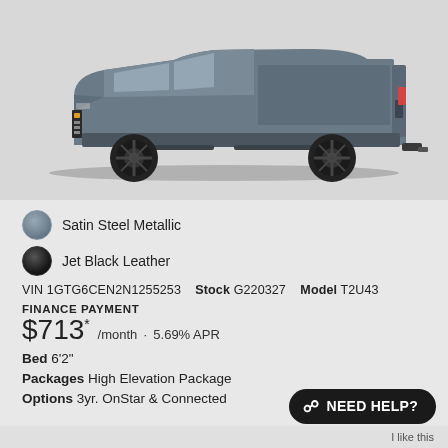[Figure (photo): Side profile photo of a GMC Canyon pickup truck in Satin Steel Metallic color with black wheels, shown on a light gray background]
Satin Steel Metallic
Jet Black Leather
VIN 1GTG6CEN2N1255253   Stock G220327   Model T2U43
FINANCE PAYMENT
$713* /month · 5.69% APR
Bed 6'2"
Packages High Elevation Package
Options 3yr. OnStar & Connected